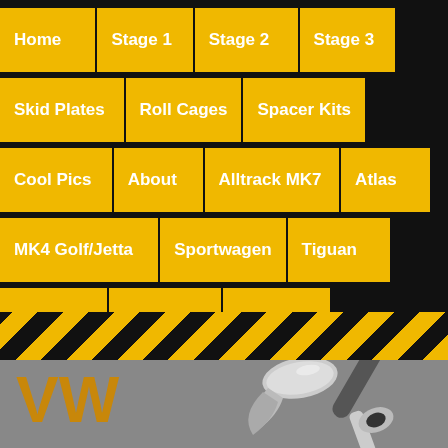Home | Stage 1 | Stage 2 | Stage 3
Skid Plates | Roll Cages | Spacer Kits
Cool Pics | About | Alltrack MK7 | Atlas
MK4 Golf/Jetta | Sportwagen | Tiguan
Touareg | Beetle A5 | Audi TT
Budget MK4 Kit
[Figure (illustration): Hazard stripe banner in yellow and black diagonal stripes]
[Figure (photo): Bottom grey section with 'VW' text in orange/gold and a silver hammer/wrench tool image]
VW